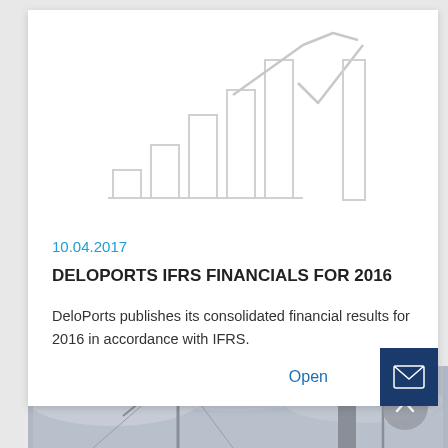[Figure (infographic): Light gray decorative bar chart and line chart icon watermark graphic on white background]
10.04.2017
DELOPORTS IFRS FINANCIALS FOR 2016
DeloPorts publishes its consolidated financial results for 2016 in accordance with IFRS.
Open
[Figure (photo): Photograph of port cranes and industrial equipment against a cloudy sky]